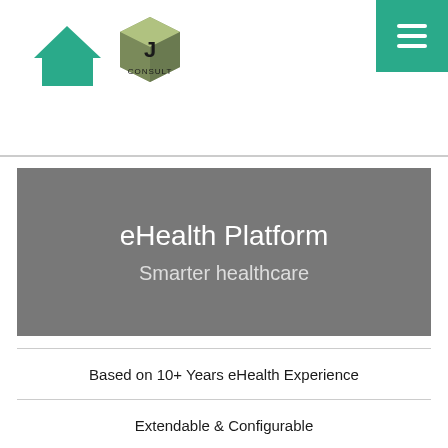[Figure (logo): Teal house/home icon on the left; J Consult 3D cube logo next to it; teal hamburger menu button in top-right corner]
eHealth Platform
Smarter healthcare
Based on 10+ Years eHealth Experience
Extendable & Configurable
Automatic Alerting & Online Patient Rounds
Disease Pattern Monitoring & Visualisation